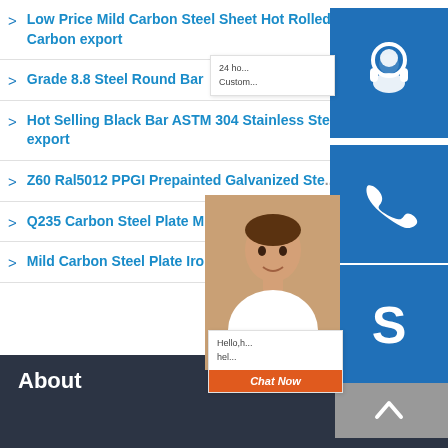Low Price Mild Carbon Steel Sheet Hot Rolled Carbon export
Grade 8.8 Steel Round Bar
Hot Selling Black Bar ASTM 304 Stainless Ste... export
Z60 Ral5012 PPGI Prepainted Galvanized Ste...
Q235 Carbon Steel Plate Mild Hot Rolled Thi...
Mild Carbon Steel Plate Iron Hot Rolled Steel...
[Figure (screenshot): Customer service widget icons (headset, phone, Skype) on blue background with chat popup]
About